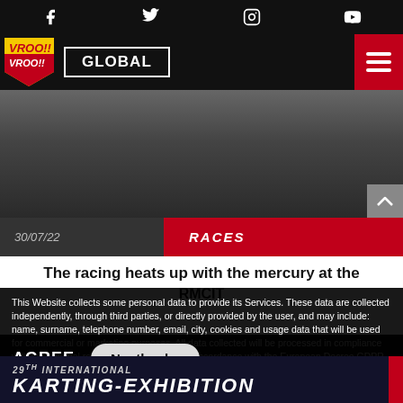Social media icons: Facebook, Twitter, Instagram, YouTube
[Figure (logo): Vroo!! logo (yellow and red shield) with GLOBAL navigation button and hamburger menu]
[Figure (photo): Article banner image showing racing/karting scene with date 30/07/22 and category RACES]
The racing heats up with the mercury at the RMCIT
This Website collects some personal data to provide its Services. These data are collected independently, through third parties, or directly provided by the user, and may include: name, surname, telephone number, email, city, cookies and usage data that will be used for commercial or marketing purposes. All data collected will be processed in compliance with the national regulations in force and in accordance with the European Decree GDPR 2016/679. The Data Owner is indicated at the bottom of this Website and in the Contacts page. For more information read the extensive privacy policy, to deny consent in whole or in part click "COOKIE PREFERENCES". COOKIE PREFERENCES
AGREE   No, thanks
[Figure (photo): 29th International Karting-Exhibition banner at bottom of page]